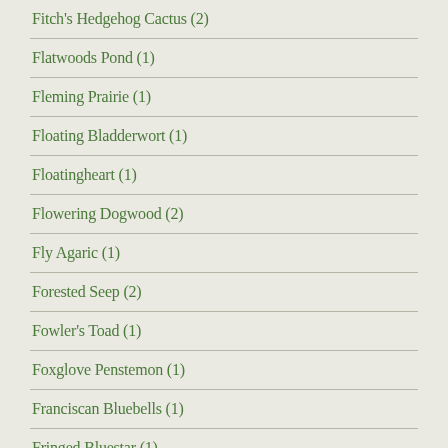Fitch's Hedgehog Cactus (2)
Flatwoods Pond (1)
Fleming Prairie (1)
Floating Bladderwort (1)
Floatingheart (1)
Flowering Dogwood (2)
Fly Agaric (1)
Forested Seep (2)
Fowler's Toad (1)
Foxglove Penstemon (1)
Franciscan Bluebells (1)
Fringed Bluestar (1)
Fringeleaf Lobelia (1)
Fringetree (2)
Fulica americana (1)